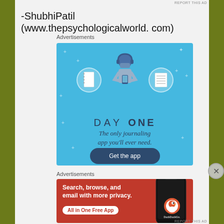-ShubhiPatil (www.thepsychologicalworld. com)
Advertisements
[Figure (illustration): DAY ONE journaling app advertisement. Blue background with illustrated icons of a notebook, person with headphones using phone, and a lined notebook. Text reads: DAY ONE - The only journaling app you'll ever need. Button: Get the app.]
Advertisements
[Figure (illustration): DuckDuckGo advertisement on red/orange background. Text: Search, browse, and email with more privacy. All in One Free App. DuckDuckGo logo and phone mockup shown.]